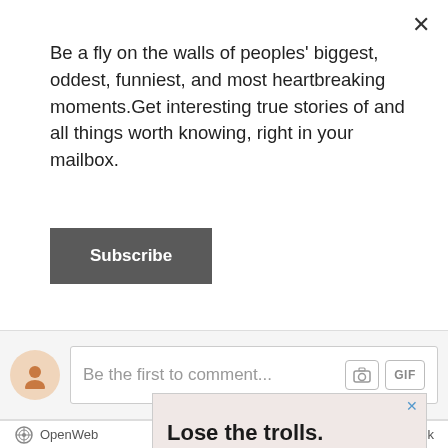Be a fly on the walls of peoples' biggest, oddest, funniest, and most heartbreaking moments.Get interesting true stories of and all things worth knowing, right in your mailbox.
Subscribe
Be the first to comment...
OpenWeb
Terms | Privacy | Feedback
[Figure (screenshot): Advertisement banner with text: Lose the trolls. Keep the comments. It's time to save online conversation. Learn more button.]